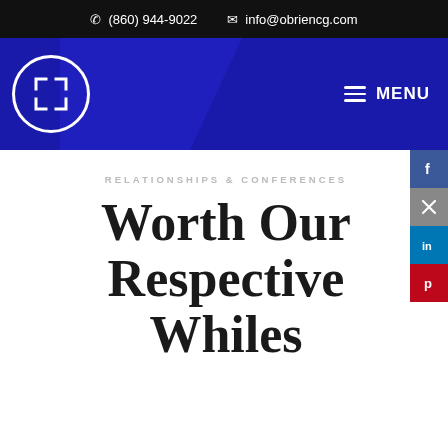(860) 944-9022   info@obriencg.com
[Figure (logo): O'Brien Consulting Group logo — white bracket/frame icon inside a white circle on dark blue navigation bar with MENU hamburger button]
RELATIONSHIPS & CONFERENCES
Worth Our Respective Whiles